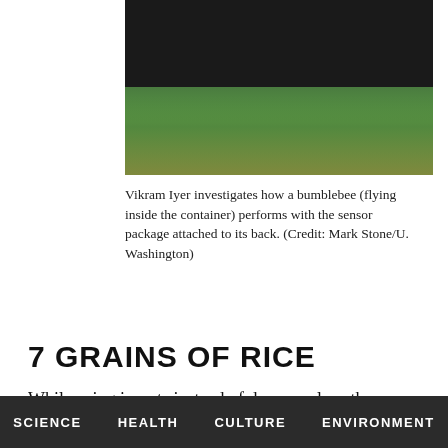[Figure (photo): Photo of Vikram Iyer investigating a bumblebee with sensor package, partially obscured by dark redaction bar at top. Shows person working with plants in background.]
Vikram Iyer investigates how a bumblebee (flying inside the container) performs with the sensor package attached to its back. (Credit: Mark Stone/U. Washington)
7 GRAINS OF RICE
While using insects instead of drones solves the power problem, the technique has its own set of complications: First, insects can't carry much weight. And second, GPS receivers, which work well for helping drones report their positions, consume too much power for this application. To develop a sensor package that could fit
SCIENCE   HEALTH   CULTURE   ENVIRONMENT